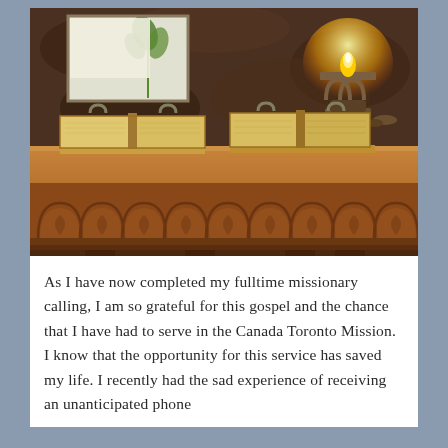[Figure (illustration): A painting depicting two open books or scriptures with metal clasps/rings on a richly carved wooden table or pulpit. A lit candle or lamp is visible on the right side. A mirror or window reflection with a plant is visible in the upper left background. The scene has warm golden and brown tones with a dark textured background.]
As I have now completed my fulltime missionary calling, I am so grateful for this gospel and the chance that I have had to serve in the Canada Toronto Mission. I know that the opportunity for this service has saved my life. I recently had the sad experience of receiving an unanticipated phone